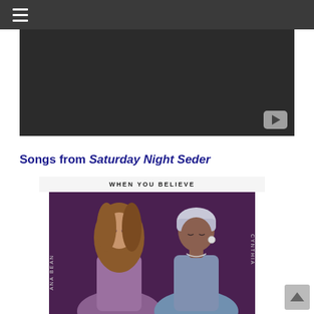≡ (hamburger menu)
[Figure (screenshot): Dark video player with YouTube play button in bottom right corner]
Songs from Saturday Night Seder
[Figure (photo): Album cover for 'When You Believe' showing two women - one with long wavy hair in purple/lavender outfit and one with short silver hair in silver outfit - against a dark purple background. Text reads 'WHEN YOU BELIEVE' at top. Left side label reads 'ANA BEAN', right side reads 'CYNTHIA']